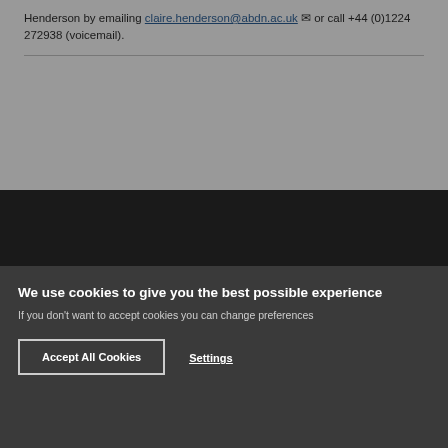Henderson by emailing claire.henderson@abdn.ac.uk or call +44 (0)1224 272938 (voicemail).
We use cookies to give you the best possible experience
If you don't want to accept cookies you can change preferences
Accept All Cookies
Settings